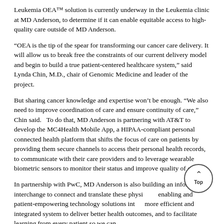Leukemia OEA™ solution is currently underway in the Leukemia clinic at MD Anderson, to determine if it can enable equitable access to high-quality care outside of MD Anderson.
“OEA is the tip of the spear for transforming our cancer care delivery. It will allow us to break free the constraints of our current delivery model and begin to build a true patient-centered healthcare system,” said Lynda Chin, M.D., chair of Genomic Medicine and leader of the project.
But sharing cancer knowledge and expertise won’t be enough. “We also need to improve coordination of care and ensure continuity of care,” Chin said. To do that, MD Anderson is partnering with AT&T to develop the MC4Health Mobile App, a HIPAA-compliant personal connected health platform that shifts the focus of care on patients by providing them secure channels to access their personal health records, to communicate with their care providers and to leverage wearable biometric sensors to monitor their status and improve quality of care.
In partnership with PwC, MD Anderson is also building an information interchange to connect and translate these physician-enabling and patient-empowering technology solutions into a more efficient and integrated system to deliver better health outcomes, and to facilitate learning from every patient so we can